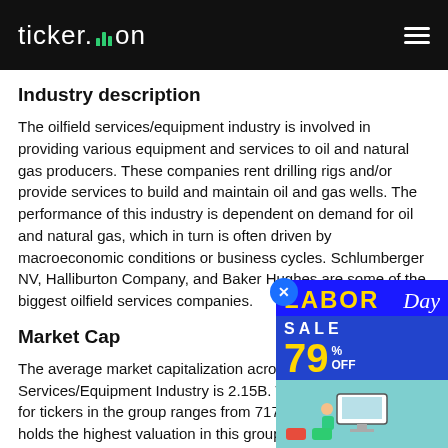ticker.on
Industry description
The oilfield services/equipment industry is involved in providing various equipment and services to oil and natural gas producers. These companies rent drilling rigs and/or provide services to build and maintain oil and gas wells. The performance of this industry is dependent on demand for oil and natural gas, which in turn is often driven by macroeconomic conditions or business cycles. Schlumberger NV, Halliburton Company, and Baker Hughes are some of the biggest oilfield services companies.
Market Cap
The average market capitalization across the Services/Equipment Industry is 2.15B. The market cap for tickers in the group ranges from 717 to 5... holds the highest valuation in this group at 5... lowest valued company is FLSS at 717.
[Figure (other): Labor Day Sale advertisement banner showing 79% OFF discount with an illustration of a person at a computer]